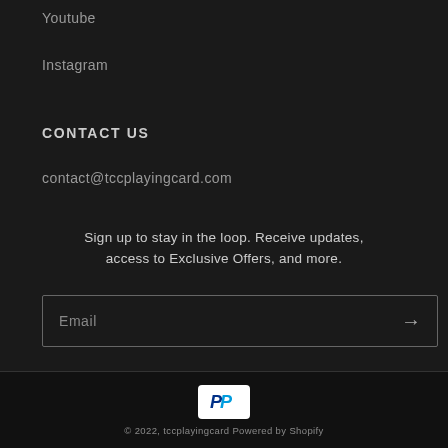Youtube
Instagram
CONTACT US
contact@tccplayingcard.com
Sign up to stay in the loop. Receive updates, access to Exclusive Offers, and more.
[Figure (infographic): Email input box with placeholder text 'Email' and a right-arrow submit button]
[Figure (logo): PayPal payment icon — white rounded rectangle with blue P logo]
© 2022, tccplayingcard Powered by Shopify